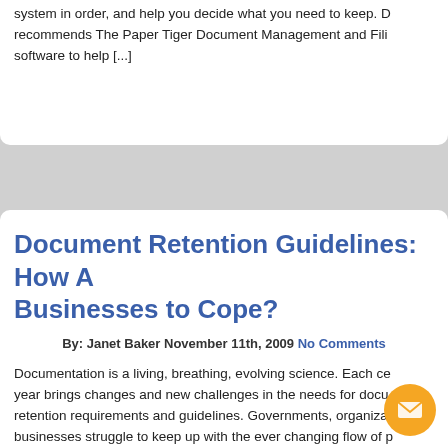system in order, and help you decide what you need to keep. D recommends The Paper Tiger Document Management and Fili software to help [...]
Document Retention Guidelines: How A Businesses to Cope?
By: Janet Baker November 11th, 2009 No Comments
Documentation is a living, breathing, evolving science. Each ce year brings changes and new challenges in the needs for docu retention requirements and guidelines. Governments, organiza businesses struggle to keep up with the ever changing flow of p Paperless systems are implemented and fail. Pre-paperless re languish. Fear [...]